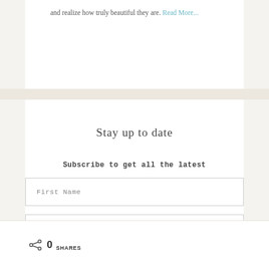and realize how truly beautiful they are. Read More...
Stay up to date
Subscribe to get all the latest
First Name
E-Mail Address
0 SHARES